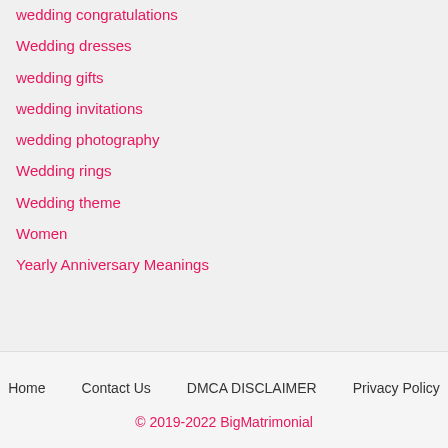Wedding congratulations
Wedding dresses
wedding gifts
wedding invitations
wedding photography
Wedding rings
Wedding theme
Women
Yearly Anniversary Meanings
Home   Contact Us   DMCA DISCLAIMER   Privacy Policy
© 2019-2022 BigMatrimonial